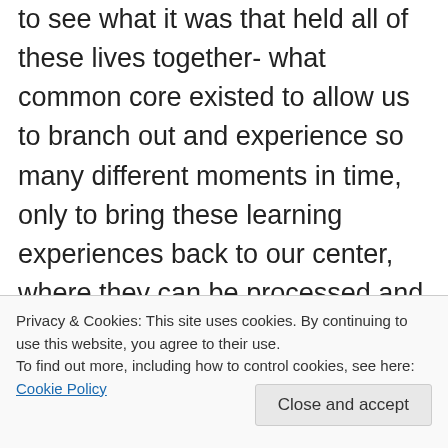to see what it was that held all of these lives together- what common core existed to allow us to branch out and experience so many different moments in time, only to bring these learning experiences back to our center, where they can be processed and added to the master list in our soul. When we have experienced enough, grown enough, learned enough… Maybe that is when each individual doll will merge to create one cohesive personality that is ready to move on and move up. Just a thought.
Privacy & Cookies: This site uses cookies. By continuing to use this website, you agree to their use. To find out more, including how to control cookies, see here: Cookie Policy
Close and accept
Jenn on August 6, 2016 at 9:40 pm